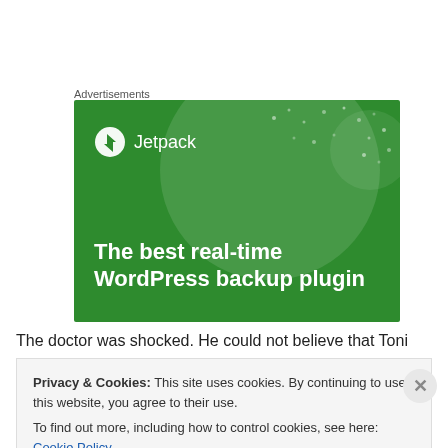Advertisements
[Figure (illustration): Jetpack advertisement banner with green background showing logo and text 'The best real-time WordPress backup plugin']
The doctor was shocked. He could not believe that Toni
Privacy & Cookies: This site uses cookies. By continuing to use this website, you agree to their use.
To find out more, including how to control cookies, see here: Cookie Policy
Close and accept